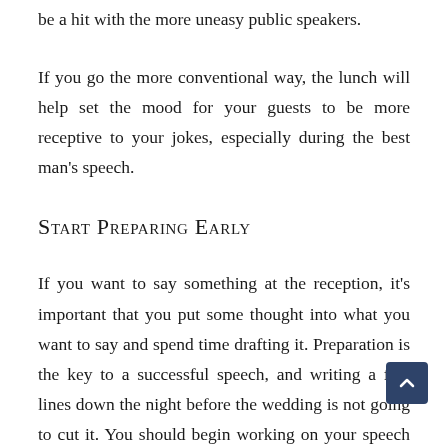be a hit with the more uneasy public speakers.
If you go the more conventional way, the lunch will help set the mood for your guests to be more receptive to your jokes, especially during the best man's speech.
Start Preparing Early
If you want to say something at the reception, it's important that you put some thought into what you want to say and spend time drafting it. Preparation is the key to a successful speech, and writing a few lines down the night before the wedding is not going to cut it. You should begin working on your speech at least a few weeks